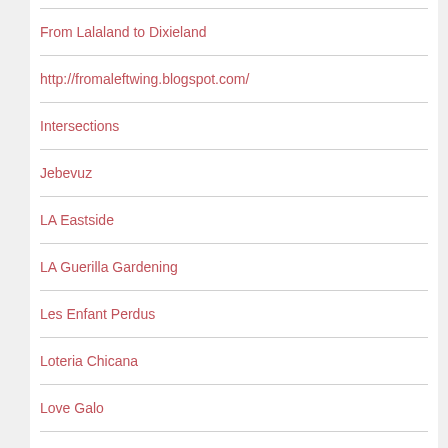From Lalaland to Dixieland
http://fromaleftwing.blogspot.com/
Intersections
Jebevuz
LA Eastside
LA Guerilla Gardening
Les Enfant Perdus
Loteria Chicana
Love Galo